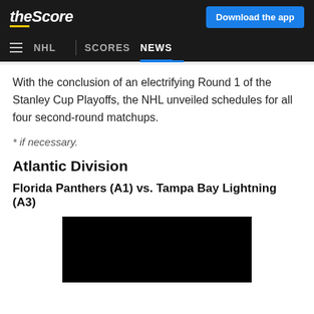theScore | Download the app
≡ NHL | SCORES NEWS
With the conclusion of an electrifying Round 1 of the Stanley Cup Playoffs, the NHL unveiled schedules for all four second-round matchups.
* if necessary.
Atlantic Division
Florida Panthers (A1) vs. Tampa Bay Lightning (A3)
[Figure (photo): Black image placeholder (video thumbnail)]